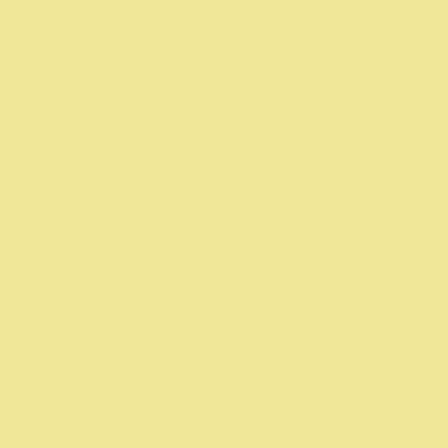Norway and project for the marine fishe SudaneseOm
S. Sudan Bra Limps 03-11 America
ICC Trial Ch concerning Blé Goudé 0 Affairs Unit
Six new judg the Internati 03:09 AM,
China calls d Sudan to rea PM, Sudane